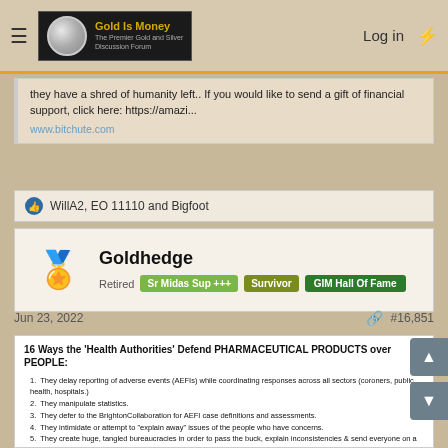Gold Is Money — The Premier Gold and Silver Discussion Forum | Log in
they have a shred of humanity left.. If you would like to send a gift of financial support, click here: https://amazi...
www.bitchute.com
WillA2, EO 11110 and Bigfoot
Goldhedge
Retired  Sr Midas Sup +++  Survivor  GIM Hall Of Fame
Jun 23, 2022  #16,851
16 Ways the 'Health Authorities' Defend PHARMACEUTICAL PRODUCTS over PEOPLE:
1. They delay reporting of adverse events (AEFIs) while coordinating responses across all sectors (coroners, public health, hospitals.)
2. They manipulate statistics.
3. They defer to the BrightonCollaboration for AEFI case definitions and assessments.
4. They intimidate or attempt to "explain away" issues of the people who have concerns.
5. They create huge, tangled bureaucracies in order to pass the buck, explain inconsistencies & send everyone on a wild goose chase.
6. They use confusion as a weapon: changing rules, definitions, timelines, expectations.
7. They use media to repeat their talking points, frighten, spin, encourage conformity, and to smear or threaten dissenters.
8. They take advantage of weaknesses in the system: ie doctor shortage, closures due to Covid to buy time and add to confusion.
9. They do not update their own websites and leave broken links or out-dated information on the page.
10. The make online forms deliberately difficult to use. Some forms are completely non-functional
11. They are unashamed hypocrites. (ie "correlation is not causation" for a vax injury but switch on a dime for covid deaths)
12. They leverage relationships with medical (or other) oversight bodies to discipline members who speak out.
13. They hoard information and select which data points they will release, and when, and how.
14. They obscure the funding mechanisms of their so-called 'independent' advisory bodies. (Carvas, Brighton, NACI etc)